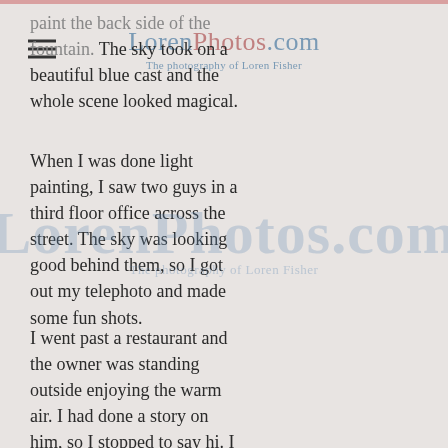LorenPhotos.com — The photography of Loren Fisher
paint the back side of the fountain. The sky took on a beautiful blue cast and the whole scene looked magical.
When I was done light painting, I saw two guys in a third floor office across the street. The sky was looking good behind them, so I got out my telephoto and made some fun shots.
I went past a restaurant and the owner was standing outside enjoying the warm air. I had done a story on him, so I stopped to say hi. I